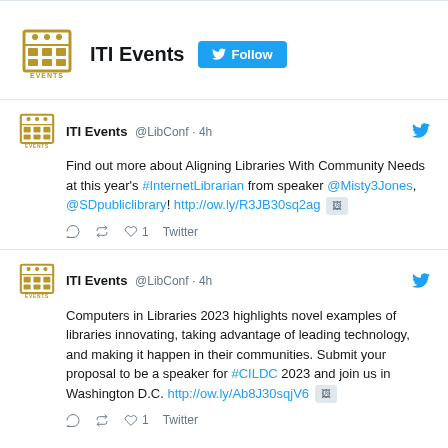[Figure (logo): ITI Events logo with grid/calendar icon in gold/yellow color and text EVENTS below]
ITI Events Follow
ITI Events @LibConf · 4h
Find out more about Aligning Libraries With Community Needs at this year's #InternetLibrarian from speaker @Misty3Jones, @SDpubliclibrary! http://ow.ly/R3JB30sq2ag
ITI Events @LibConf · 4h
Computers in Libraries 2023 highlights novel examples of libraries innovating, taking advantage of leading technology, and making it happen in their communities. Submit your proposal to be a speaker for #CILDC 2023 and join us in Washington D.C. http://ow.ly/Ab8J30sqjV6